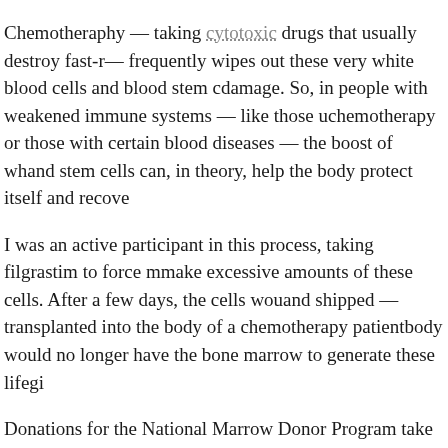Chemotheraphy — taking cytotoxic drugs that usually destroy fast-r— frequently wipes out these very white blood cells and blood stem cdamage. So, in people with weakened immune systems — like those uchemotherapy or those with certain blood diseases — the boost of whand stem cells can, in theory, help the body protect itself and recove
I was an active participant in this process, taking filgrastim to force mmake excessive amounts of these cells. After a few days, the cells wouand shipped — transplanted into the body of a chemotherapy patientbody would no longer have the bone marrow to generate these lifegi
Donations for the National Marrow Donor Program take one of two fthe "classic" bone marrow transplant, involving sticking a needle int— usually at the hip — to extract marrow. And then there's a versionrequires peripheral blood stem cells. Through a series of phone calls,paperwork, blood tests, and more phone calls and paperwork, I wentpartial match to being a backup donor to (after a primary donor fell tdonor for a patient with a life-threatening disease of the blood.